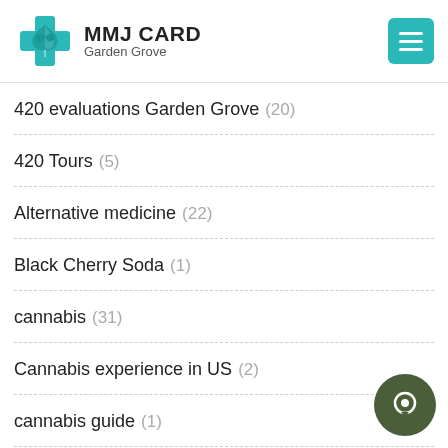MMJ CARD Garden Grove
420 evaluations Garden Grove (20)
420 Tours (5)
Alternative medicine (22)
Black Cherry Soda (1)
cannabis (31)
Cannabis experience in US (2)
cannabis guide (1)
Cannabis Recipes (1)